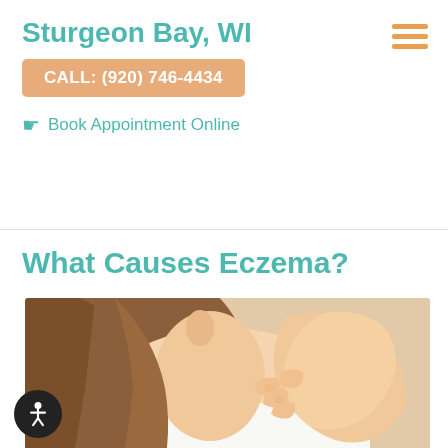Sturgeon Bay, WI
CALL: (920) 746-4434
Book Appointment Online
What Causes Eczema?
[Figure (photo): Woman scratching the back of her neck/shoulder, showing eczema symptoms. She has brown hair in a ponytail and is wearing a white top.]